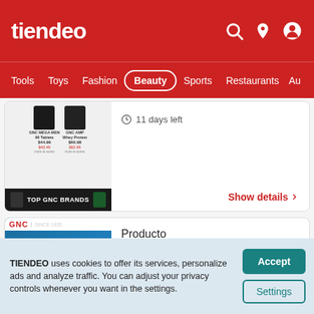tiendeo — Tools, Toys, Fashion, Beauty, Sports, Restaurants
[Figure (screenshot): GNC product catalog thumbnail showing supplement bottles with prices and TOP GNC BRANDS banner]
11 days left
Show details >
Producto
[Figure (photo): GNC Labor Day Sale advertisement with athlete and bold text]
TIENDEO uses cookies to offer its services, personalize ads and analyze traffic. You can adjust your privacy controls whenever you want in the settings.